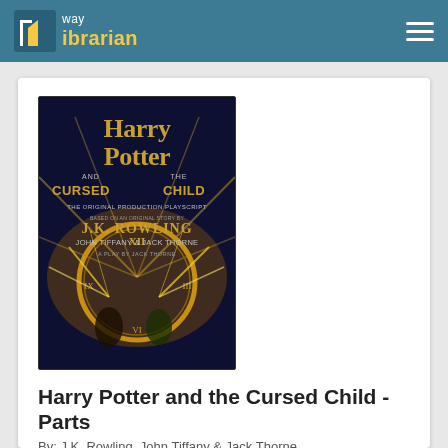way ibrarian
[Figure (illustration): Book cover of Harry Potter and the Cursed Child - The Original Production Playscript, based on an original story by J.K. Rowling, John Tiffany & Jack Thorne, a play by Jack Thorne. Dark blue background with golden magical sparks and a clock motif with two figures.]
Harry Potter and the Cursed Child - Parts
By: J.K. Rowling, John Tiffany & Jack Thorne